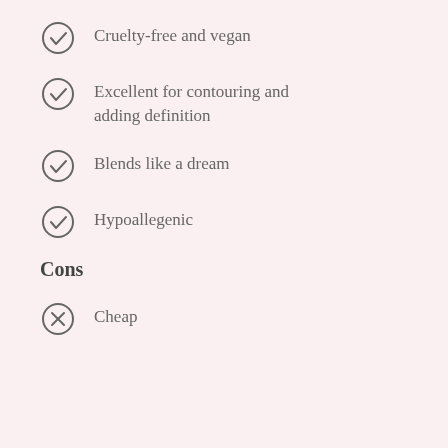Cruelty-free and vegan
Excellent for contouring and adding definition
Blends like a dream
Hypoallegenic
Cons
Cheap